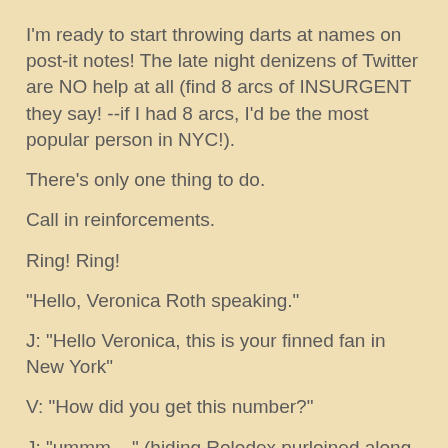I'm ready to start throwing darts at names on post-it notes! The late night denizens of Twitter are NO help at all (find 8 arcs of INSURGENT they say! --if I had 8 arcs, I'd be the most popular person in NYC!).
There's only one thing to do.
Call in reinforcements.
Ring! Ring!
"Hello, Veronica Roth speaking."
J: "Hello Veronica, this is your finned fan in New York"
V: "How did you get this number?"
J: "ummm...." (hiding Rolodex purloined along with ARC from Miss Molly O'Neill)
V: "It's 11:30 on Saturday night, shouldn't you be tormenting